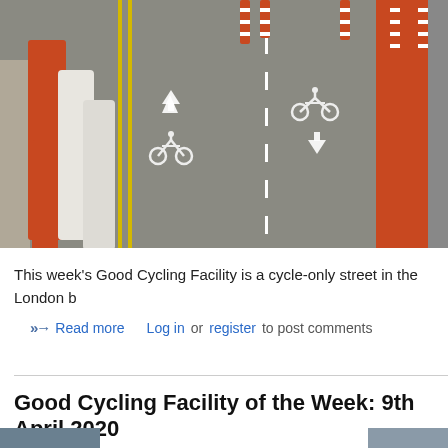[Figure (photo): A cycle-only street in London showing road markings with bicycle symbols and directional arrows. Orange and white plastic road barriers line the left side. Red and white striped bollards are visible at the top. Orange barriers/fencing on the right side. Yellow double lines separate the left cycle lane from the main road area. A dashed white line divides the bidirectional cycle lanes.]
This week's Good Cycling Facility is a cycle-only street in the London b
Read more   Log in or register to post comments
Good Cycling Facility of the Week: 9th April 2020